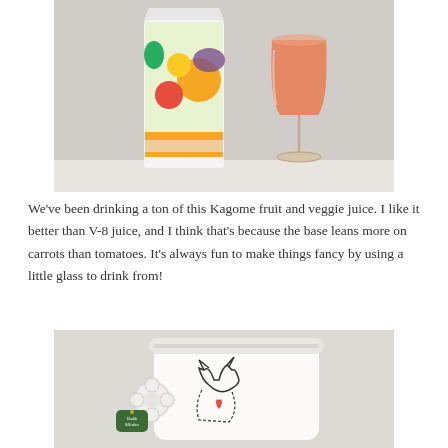[Figure (photo): A Kagome fruit and vegetable juice carton next to a wine glass filled with orange-red juice, placed on a white surface against a light gray wall.]
We've been drinking a ton of this Kagome fruit and veggie juice. I like it better than V-8 juice, and I think that's because the base leans more on carrots than tomatoes. It's always fun to make things fancy by using a little glass to drink from!
[Figure (photo): A white ceramic mug with a flower-shaped handle, featuring a cat outline illustration and a Health & Heather branded tag, photographed from an angle on a light background.]